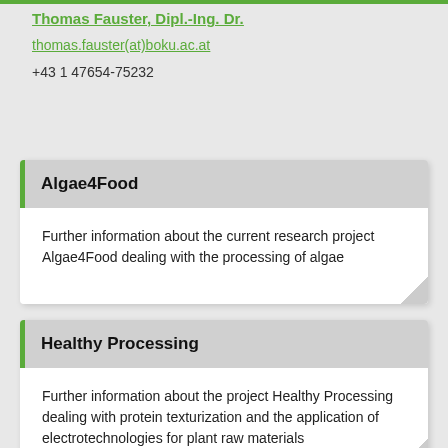Thomas Fauster, Dipl.-Ing. Dr.
thomas.fauster(at)boku.ac.at
+43 1 47654-75232
Algae4Food
Further information about the current research project Algae4Food dealing with the processing of algae
Healthy Processing
Further information about the project Healthy Processing dealing with protein texturization and the application of electrotechnologies for plant raw materials